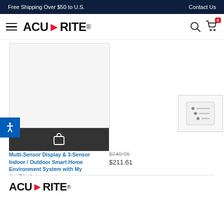Free Shipping Over $50 to U.S.    Contact Us
[Figure (logo): AcuRite logo with hamburger menu, search and cart icons]
[Figure (photo): Product image area for Multi-Sensor Display system, with add to cart button (bag icon) and accessibility button]
[Figure (photo): Second product image showing a small device with dials/sliders]
Multi-Sensor Display & 3-Sensor Indoor / Outdoor Smart Home Environment System with My AcuRite®
$240.95  $211.61
[Figure (logo): AcuRite footer logo]